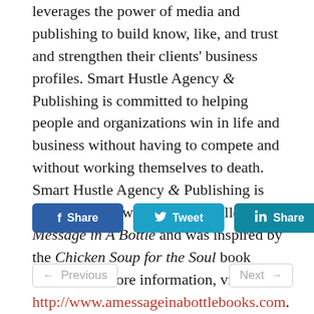leverages the power of media and publishing to build know, like, and trust and strengthen their clients' business profiles. Smart Hustle Agency & Publishing is committed to helping people and organizations win in life and business without having to compete and without working themselves to death.  Smart Hustle Agency & Publishing is launching a new book series called A Message in A Bottle and was inspired by the Chicken Soup for the Soul book series.  For more information, visit http://www.amessageinabottlebooks.com.
[Figure (other): Social sharing buttons: Facebook Share, Twitter Tweet, LinkedIn Share]
[Figure (other): Navigation buttons: Previous and Next]